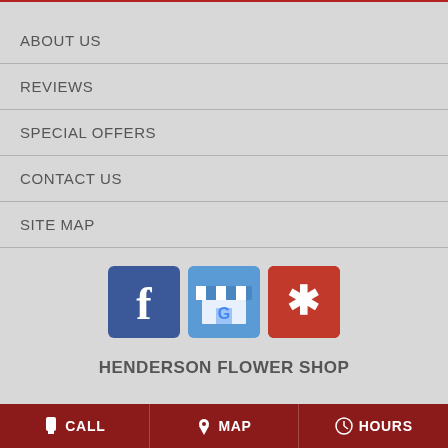ABOUT US
REVIEWS
SPECIAL OFFERS
CONTACT US
SITE MAP
[Figure (logo): Facebook, Google My Business, and Yelp social media icons]
HENDERSON FLOWER SHOP
CALL   MAP   HOURS